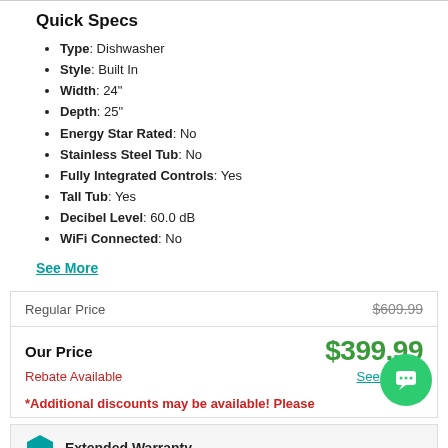Quick Specs
Type: Dishwasher
Style: Built In
Width: 24"
Depth: 25"
Energy Star Rated: No
Stainless Steel Tub: No
Fully Integrated Controls: Yes
Tall Tub: Yes
Decibel Level: 60.0 dB
WiFi Connected: No
See More
|  |  |
| --- | --- |
| Regular Price | $609.99 |
| Our Price | $399.99 |
| Rebate Available | See Details |
*Additional discounts may be available! Please
Extended Warranty